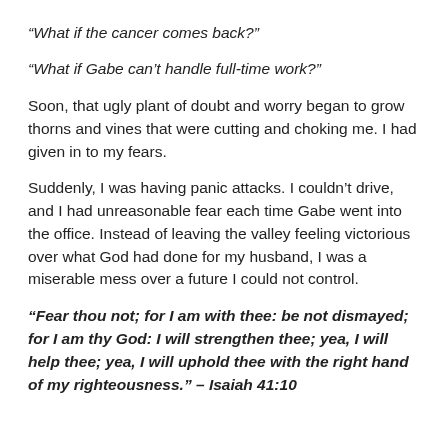“What if the cancer comes back?”
“What if Gabe can’t handle full-time work?”
Soon, that ugly plant of doubt and worry began to grow thorns and vines that were cutting and choking me. I had given in to my fears.
Suddenly, I was having panic attacks. I couldn’t drive, and I had unreasonable fear each time Gabe went into the office. Instead of leaving the valley feeling victorious over what God had done for my husband, I was a miserable mess over a future I could not control.
“Fear thou not; for I am with thee: be not dismayed; for I am thy God: I will strengthen thee; yea, I will help thee; yea, I will uphold thee with the right hand of my righteousness.” – Isaiah 41:10